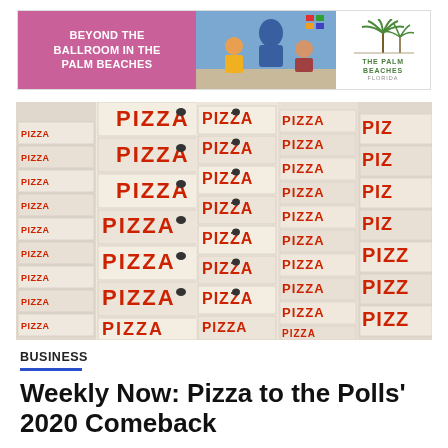[Figure (illustration): Advertisement banner for 'Beyond the Ballroom in the Palm Beaches' with pink left panel, center photo of people at an event, and Palm Beaches Florida logo on right]
[Figure (photo): Stack of white pizza boxes with red 'PIZZA' text printed on them, piled high filling the entire frame]
BUSINESS
Weekly Now: Pizza to the Polls' 2020 Comeback